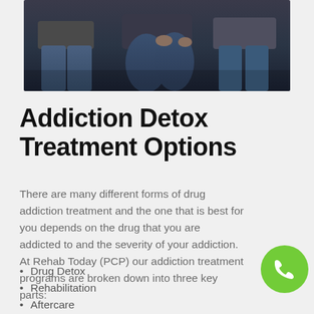[Figure (photo): Dark photo showing people sitting, visible from waist down, wearing jeans and casual clothing, likely a group therapy or waiting room scene]
Addiction Detox Treatment Options
There are many different forms of drug addiction treatment and the one that is best for you depends on the drug that you are addicted to and the severity of your addiction. At Rehab Today (PCP) our addiction treatment programs are broken down into three key parts:
Drug Detox
Rehabilitation
Aftercare